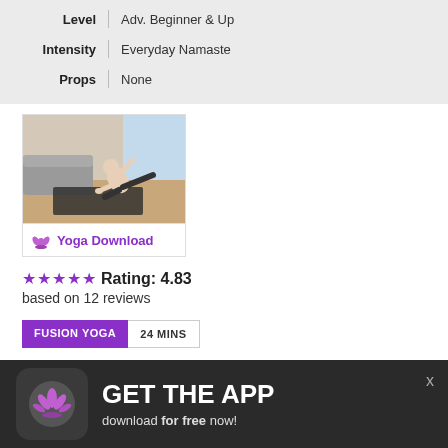| Level | Adv. Beginner & Up |
| Intensity | Everyday Namaste |
| Props | None |
[Figure (photo): Person doing a yoga balance pose on a mat in a living room setting]
Yoga Download
★★★★★ Rating: 4.83
based on 12 reviews
FUSION YOGA | 24 MINS
Fitness In! Yoga: Energy Boost
[Figure (infographic): App download advertisement banner with lotus flower icon, text GET THE APP download for free now!]